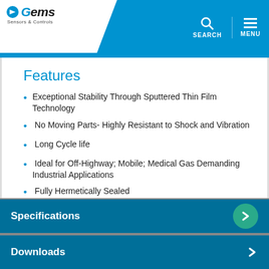Gems Sensors & Controls — SEARCH MENU
Features
Exceptional Stability Through Sputtered Thin Film Technology
No Moving Parts- Highly Resistant to Shock and Vibration
Long Cycle life
Ideal for Off-Highway; Mobile; Medical Gas Demanding Industrial Applications
Fully Hermetically Sealed
Specifications
Downloads